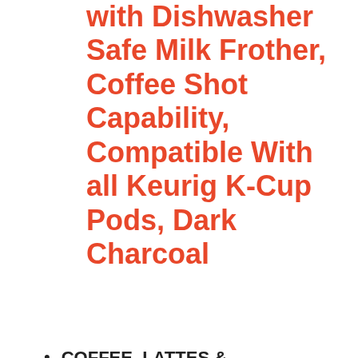with Dishwasher Safe Milk Frother, Coffee Shot Capability, Compatible With all Keurig K-Cup Pods, Dark Charcoal
COFFEE, LATTES & CAPPUCCINOS: Use any K-Cup pod to brew coffee, or make delicious lattes and cappuccinos.
SIMPLE BUTTON CONTROLS: Just insert any K-Cup pod and use the button controls to brew delicious coffee, or make hot or iced lattes